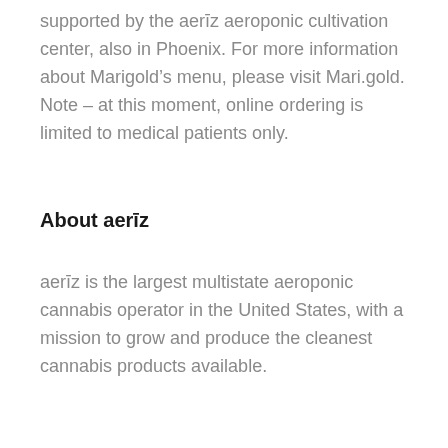supported by the aerīz aeroponic cultivation center, also in Phoenix. For more information about Marigold's menu, please visit Mari.gold. Note – at this moment, online ordering is limited to medical patients only.
About aerīz
aerīz is the largest multistate aeroponic cannabis operator in the United States, with a mission to grow and produce the cleanest cannabis products available.